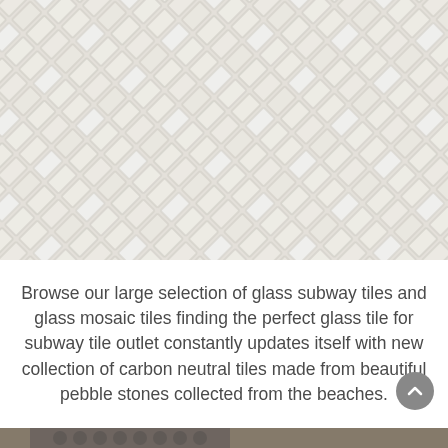[Figure (photo): Close-up photo of white/cream herringbone-patterned glass subway tiles arranged in a diagonal herringbone pattern with light grout lines.]
Browse our large selection of glass subway tiles and glass mosaic tiles finding the perfect glass tile for subway tile outlet constantly updates itself with new collection of carbon neutral tiles made from beautiful pebble stones collected from the beaches.
[Figure (photo): Partial photo at bottom showing hexagonal mosaic tiles in a bathroom or shower setting with dark circular pebble/hex tiles and beige wall tiles.]